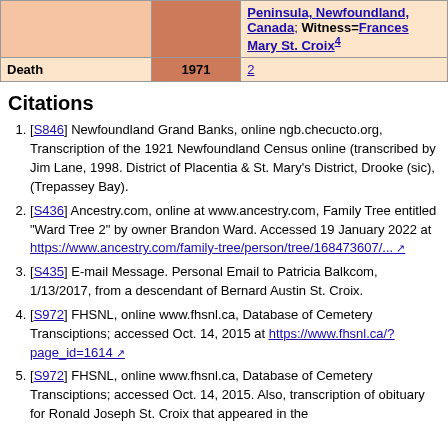|  |  |  |
| --- | --- | --- |
|  |  | Peninsula, Newfoundland, Canada; Witness=Frances Mary St. Croix4 |
| Death | 1971 | 2 |
Citations
[S846] Newfoundland Grand Banks, online ngb.checucto.org, Transcription of the 1921 Newfoundland Census online (transcribed by Jim Lane, 1998. District of Placentia & St. Mary's District, Drooke (sic), (Trepassey Bay).
[S436] Ancestry.com, online at www.ancestry.com, Family Tree entitled "Ward Tree 2" by owner Brandon Ward. Accessed 19 January 2022 at https://www.ancestry.com/family-tree/person/tree/168473607/...
[S435] E-mail Message. Personal Email to Patricia Balkcom, 1/13/2017, from a descendant of Bernard Austin St. Croix.
[S972] FHSNL, online www.fhsnl.ca, Database of Cemetery Transciptions; accessed Oct. 14, 2015 at https://www.fhsnl.ca/?page_id=1614
[S972] FHSNL, online www.fhsnl.ca, Database of Cemetery Transciptions; accessed Oct. 14, 2015. Also, transcription of obituary for Ronald Joseph St. Croix that appeared in the